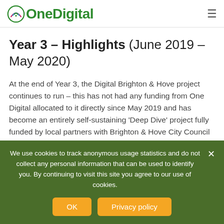OneDigital
Year 3 – Highlights (June 2019 – May 2020)
At the end of Year 3, the Digital Brighton & Hove project continues to run – this has not had any funding from One Digital allocated to it directly since May 2019 and has become an entirely self-sustaining 'Deep Dive' project fully funded by local partners with Brighton & Hove City Council taking the lead. This evidence of project legacy and
We use cookies to track anonymous usage statistics and do not collect any personal information that can be used to identify you. By continuing to visit this site you agree to our use of cookies.